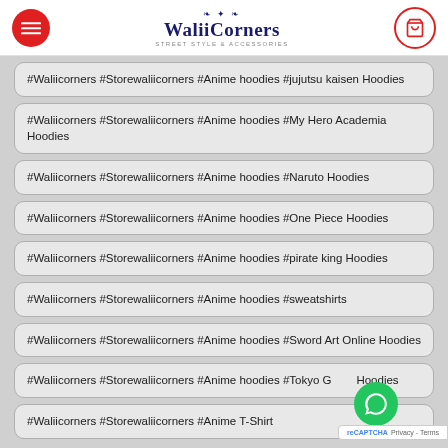WaliiCorners
#Waliicorners #Storewaliicorners #Anime hoodies #jujutsu kaisen Hoodies
#Waliicorners #Storewaliicorners #Anime hoodies #My Hero Academia Hoodies
#Waliicorners #Storewaliicorners #Anime hoodies #Naruto Hoodies
#Waliicorners #Storewaliicorners #Anime hoodies #One Piece Hoodies
#Waliicorners #Storewaliicorners #Anime hoodies #pirate king Hoodies
#Waliicorners #Storewaliicorners #Anime hoodies #sweatshirts
#Waliicorners #Storewaliicorners #Anime hoodies #Sword Art Online Hoodies
#Waliicorners #Storewaliicorners #Anime hoodies #Tokyo Ghoul Hoodies
#Waliicorners #Storewaliicorners #Anime T-Shirt